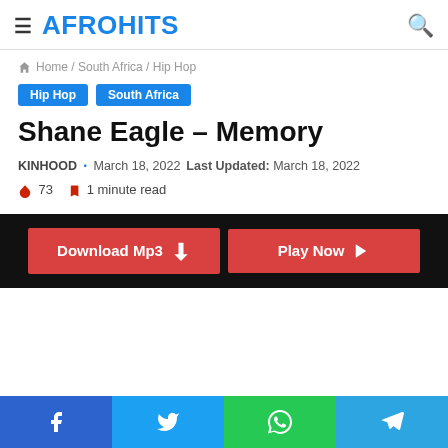AFROHITS
Home / South Africa / Hip Hop
Hip Hop  South Africa
Shane Eagle – Memory
KINHOOD · March 18, 2022  Last Updated: March 18, 2022
🔥 73  🔖 1 minute read
[Figure (screenshot): Download Mp3 and Play Now buttons on black background]
Facebook Twitter WhatsApp Telegram share buttons